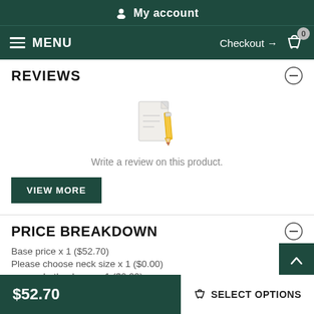My account
MENU  Checkout →  0
REVIEWS
[Figure (illustration): Document/notepad icon with a pencil]
Write a review on this product.
VIEW MORE
PRICE BREAKDOWN
Base price x 1 ($52.70)
Please choose neck size x 1 ($0.00)
no need - thank you x 1 ($0.00)
$52.70  SELECT OPTIONS